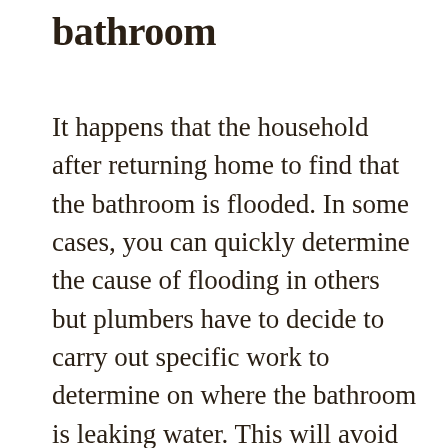bathroom
It happens that the household after returning home to find that the bathroom is flooded. In some cases, you can quickly determine the cause of flooding in others but plumbers have to decide to carry out specific work to determine on where the bathroom is leaking water. This will avoid further damage and execution of comprehensive services plumbing. Before plumbers will join the repair work will make them a decent valuation, and sometimes they will have to also prepare for his client